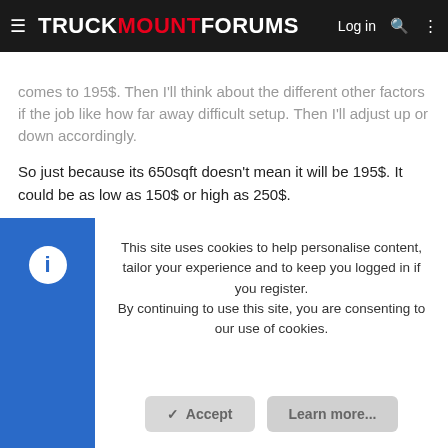TRUCKMOUNTFORUMS
comes to 195$. Then I'll think about the different other factors if the job like how far away difficult setup. Then I'll adjust up or down accordingly.
So just because its 650sqft doesn't mean it will be 195$. It could be as low as 150$ or high as 250$.
vicsin — Active Member — #17 — Feb 20, 2013
This site uses cookies to help personalise content, tailor your experience and to keep you logged in if you register. By continuing to use this site, you are consenting to our use of cookies.